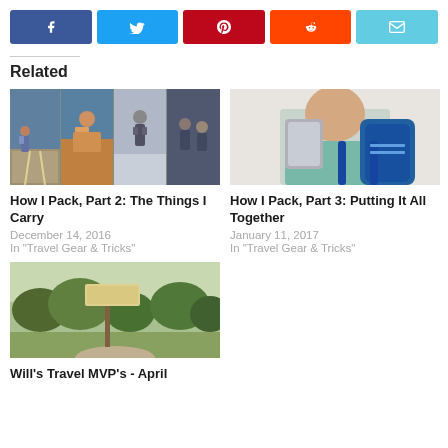[Figure (other): Row of social share buttons: Facebook (blue), Twitter (light blue), Pinterest (red), Reddit (orange-red), Email (cyan)]
Related
[Figure (photo): Collage of four travel/hiking photos showing people outdoors in various landscapes]
How I Pack, Part 2: The Things I Carry
December 14, 2016
In "Travel Gear & Tricks"
[Figure (photo): Man taking a selfie in a mirror while wearing a large backpack, in a light-colored shirt]
How I Pack, Part 3: Putting It All Together
January 11, 2017
In "Travel Gear & Tricks"
[Figure (photo): Outdoor scene with trees and a sign, nature trail or park setting]
Will's Travel MVP's - April